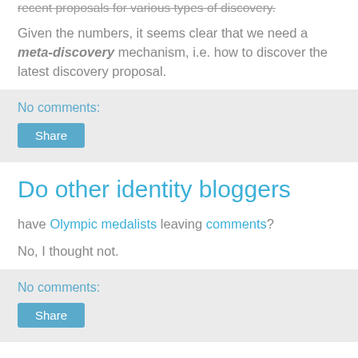recent proposals for various types of discovery.
Given the numbers, it seems clear that we need a meta-discovery mechanism, i.e. how to discover the latest discovery proposal.
No comments:
Share
Do other identity bloggers
have Olympic medalists leaving comments?
No, I thought not.
No comments:
Share